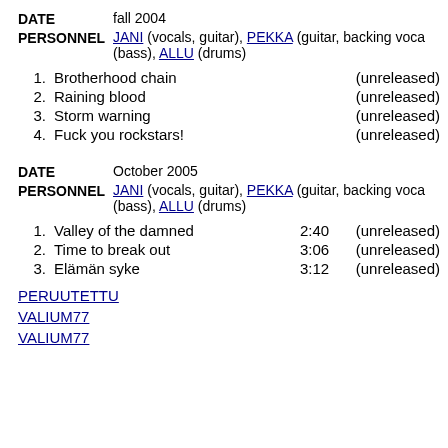DATE fall 2004
PERSONNEL JANI (vocals, guitar), PEKKA (guitar, backing vocals), (bass), ALLU (drums)
1. Brotherhood chain (unreleased)
2. Raining blood (unreleased)
3. Storm warning (unreleased)
4. Fuck you rockstars! (unreleased)
DATE October 2005
PERSONNEL JANI (vocals, guitar), PEKKA (guitar, backing vocals), (bass), ALLU (drums)
1. Valley of the damned 2:40 (unreleased)
2. Time to break out 3:06 (unreleased)
3. Elämän syke 3:12 (unreleased)
PERUUTETTU
VALIUM77
VALIUM77